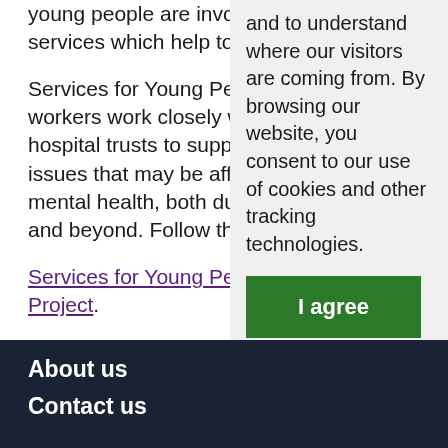young people are involved services which help to ke
Services for Young Peop workers work closely wi hospital trusts to suppor issues that may be affec mental health, both durin and beyond. Follow this l
Services for Young Peop Project.
and to understand where our visitors are coming from. By browsing our website, you consent to our use of cookies and other tracking technologies.
I agree
Change my preferences
About us
Contact us